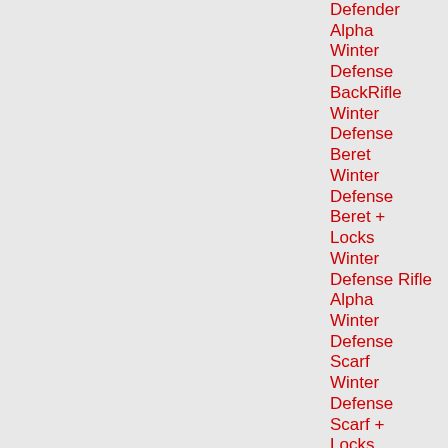Defender
Alpha Winter Defense
BackRifle Winter Defense
Beret Winter Defense
Beret + Locks Winter Defense Rifle
Alpha Winter Defense Scarf
Winter Defense Scarf + Locks
Winter Dracolich House Shop
Winter Dragon Cave
Winter-een-mas Scepter
Winter Elf Doll